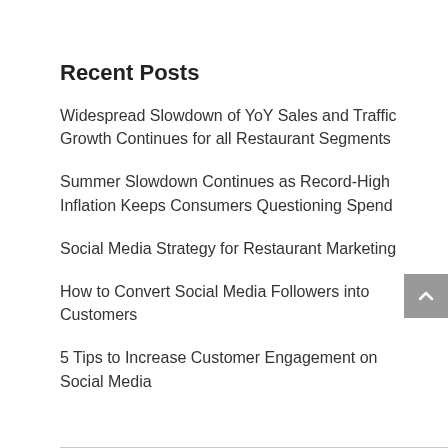Recent Posts
Widespread Slowdown of YoY Sales and Traffic Growth Continues for all Restaurant Segments
Summer Slowdown Continues as Record-High Inflation Keeps Consumers Questioning Spend
Social Media Strategy for Restaurant Marketing
How to Convert Social Media Followers into Customers
5 Tips to Increase Customer Engagement on Social Media